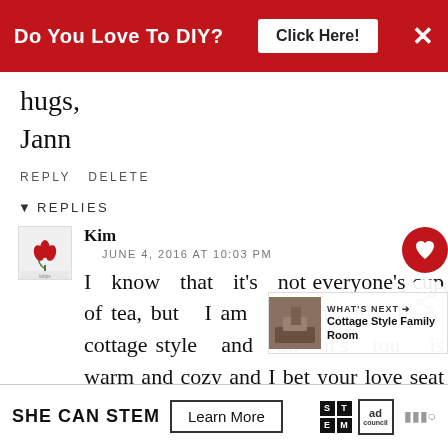[Figure (screenshot): Red advertisement banner: 'Do You Love To DIY? Click Here!' with X close button]
hugs,
Jann
REPLY DELETE
▾ REPLIES
Kim
JUNE 4, 2016 AT 10:03 PM
I know that it's not everyone's cup of tea, but am drawn to that cottage style and all it's tou... is warm and cozy and I bet your love seat is fabulous!
[Figure (screenshot): Bottom advertisement banner: SHE CAN STEM - Learn More, with STEM and Ad Council logos]